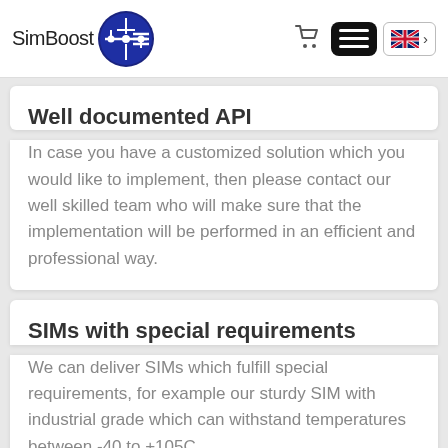SimBoost [logo] [cart] [menu] [UK flag >]
Well documented API
In case you have a customized solution which you would like to implement, then please contact our well skilled team who will make sure that the implementation will be performed in an efficient and professional way.
SIMs with special requirements
We can deliver SIMs which fulfill special requirements, for example our sturdy SIM with industrial grade which can withstand temperatures between -40 to +105C